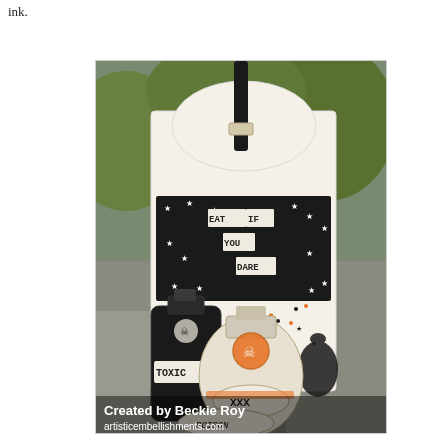ink.
[Figure (photo): A Halloween-themed craft box decorated with black and white star-patterned paper, poison bottle illustrations labeled 'TOXIC' and 'XXX POISON', and a sign reading 'EAT IF YOU DARE'. Created by Beckie Roy, artisticembellishments.com]